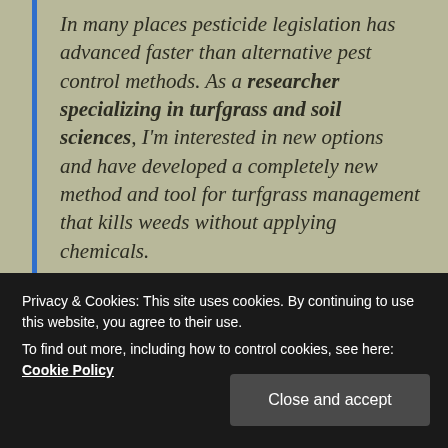In many places pesticide legislation has advanced faster than alternative pest control methods. As a researcher specializing in turfgrass and soil sciences, I'm interested in new options and have developed a completely new method and tool for turfgrass management that kills weeds without applying chemicals.
Share this:
Privacy & Cookies: This site uses cookies. By continuing to use this website, you agree to their use. To find out more, including how to control cookies, see here: Cookie Policy
Close and accept